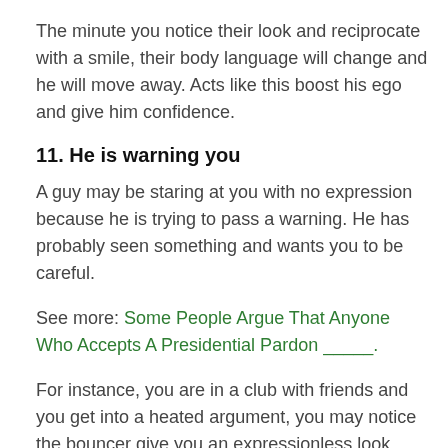The minute you notice their look and reciprocate with a smile, their body language will change and he will move away. Acts like this boost his ego and give him confidence.
11. He is warning you
A guy may be staring at you with no expression because he is trying to pass a warning. He has probably seen something and wants you to be careful.
See more: Some People Argue That Anyone Who Accepts A Presidential Pardon _____.
For instance, you are in a club with friends and you get into a heated argument, you may notice the bouncer give you an expressionless look. The